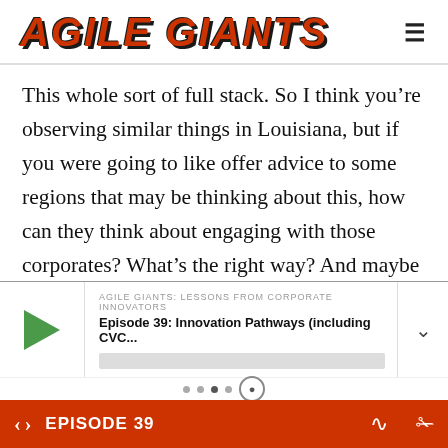AGILE GIANTS
This whole sort of full stack. So I think you're observing similar things in Louisiana, but if you were going to like offer advice to some regions that may be thinking about this, how can they think about engaging with those corporates? What's the right way? And maybe you can think about the engagements you have with the petrochemical companies in Louisiana, or
AGILE GIANTS: LESSONS FROM CORPORATE INNOVATORS
Episode 39: Innovation Pathways (including CVC...
EPISODE 39